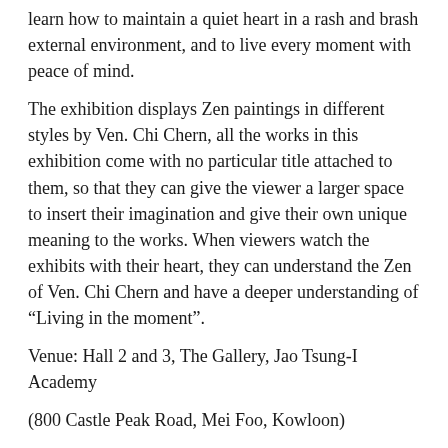learn how to maintain a quiet heart in a rash and brash external environment, and to live every moment with peace of mind.
The exhibition displays Zen paintings in different styles by Ven. Chi Chern, all the works in this exhibition come with no particular title attached to them, so that they can give the viewer a larger space to insert their imagination and give their own unique meaning to the works. When viewers watch the exhibits with their heart, they can understand the Zen of Ven. Chi Chern and have a deeper understanding of “Living in the moment”.
Venue: Hall 2 and 3, The Gallery, Jao Tsung-I Academy
(800 Castle Peak Road, Mei Foo, Kowloon)
Date: 11th October to 29th February 2020
Time: 10 am – 6 pm
*Ven. Chi Chern will be present during the exhibition on 11, 12, 14-17 and in the afternoon on 21 October.
(Please take note that the above arrangements may change due to changes in Ven. Chi Chern’s circumstances.)